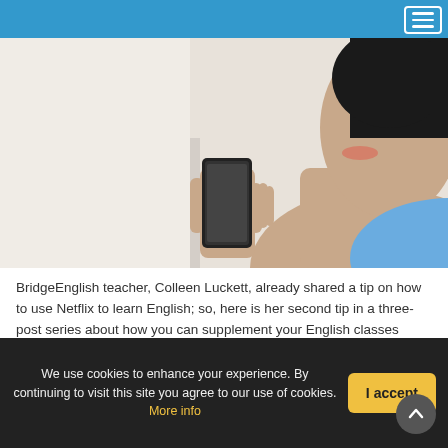[Figure (photo): Woman smiling and holding a smartphone up to speak into it, close-up photo]
BridgeEnglish teacher, Colleen Luckett, already shared a tip on how to use Netflix to learn English; so, here is her second tip in a three-post series about how you can supplement your English classes using technology: using your phone to improve your English!
Continue reading
We use cookies to enhance your experience. By continuing to visit this site you agree to our use of cookies. More info
I accept